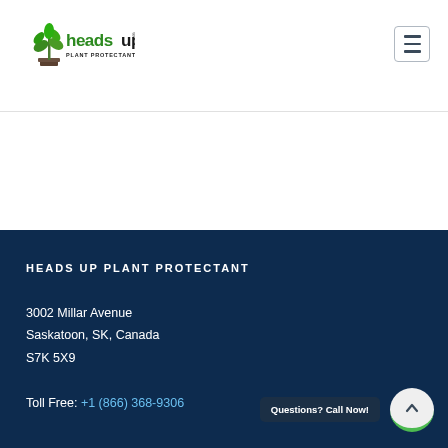Heads Up Plant Protectants Inc. logo and navigation
[Figure (logo): Heads Up Plant Protectants Inc. logo with green plant icon and green/black text]
HEADS UP PLANT PROTECTANT
3002 Millar Avenue
Saskatoon, SK, Canada
S7K 5X9
Toll Free: +1 (866) 368-9306